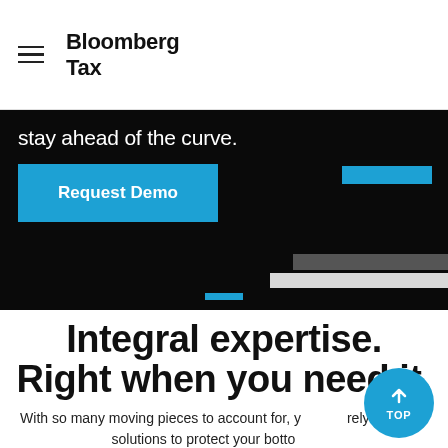Bloomberg Tax
stay ahead of the curve.
Request Demo
Integral expertise. Right when you need it.
With so many moving pieces to account for, you can rely on us for solutions to protect your bottom line.